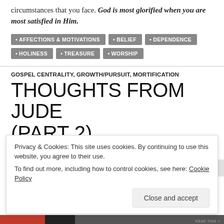circumstances that you face. God is most glorified when you are most satisfied in Him.
AFFECTIONS & MOTIVATIONS
BELIEF
DEPENDENCE
HOLINESS
TREASURE
WORSHIP
GOSPEL CENTRALITY, GROWTH/PURSUIT, MORTIFICATION
THOUGHTS FROM JUDE
Privacy & Cookies: This site uses cookies. By continuing to use this website, you agree to their use. To find out more, including how to control cookies, see here: Cookie Policy
Close and accept